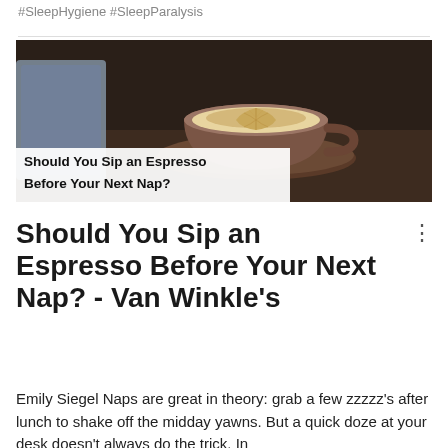#SleepHygiene #SleepParalysis
[Figure (photo): Photo of a latte in a cup and saucer with latte art, with text overlay 'Should You Sip an Espresso Before Your Next Nap?']
Should You Sip an Espresso Before Your Next Nap? - Van Winkle's
Emily Siegel Naps are great in theory: grab a few zzzzz's after lunch to shake off the midday yawns. But a quick doze at your desk doesn't always do the trick. In